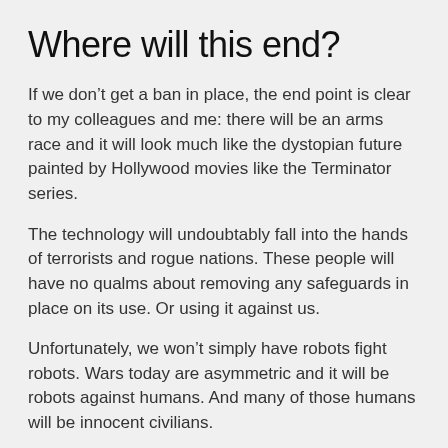Where will this end?
If we don’t get a ban in place, the end point is clear to my colleagues and me: there will be an arms race and it will look much like the dystopian future painted by Hollywood movies like the Terminator series.
The technology will undoubtably fall into the hands of terrorists and rogue nations. These people will have no qualms about removing any safeguards in place on its use. Or using it against us.
Unfortunately, we won’t simply have robots fight robots. Wars today are asymmetric and it will be robots against humans. And many of those humans will be innocent civilians.
This is a terrifying prospect.